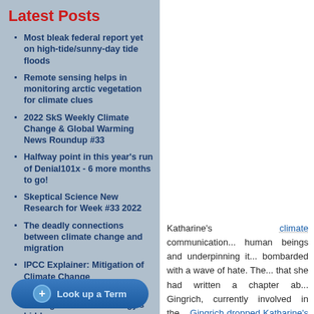Latest Posts
Most bleak federal report yet on high-tide/sunny-day tide floods
Remote sensing helps in monitoring arctic vegetation for climate clues
2022 SkS Weekly Climate Change & Global Warming News Roundup #33
Halfway point in this year's run of Denial101x - 6 more months to go!
Skeptical Science New Research for Week #33 2022
The deadly connections between climate change and migration
IPCC Explainer: Mitigation of Climate Change
Geothermal heating and cooling: Renewable energy's hidden gem
2022 SkS Weekly Climate Change & Global Warming News Roundup #32
Skeptical Science New Research for Week #32 2022
What on Earth is up with Heatwaves?
E...
Katharine's climate communication... human beings and underpinning it... bombarded with a wave of hate. The... that she had written a chapter ab... Gingrich, currently involved in the... Gingrich dropped Katharine's chapt...